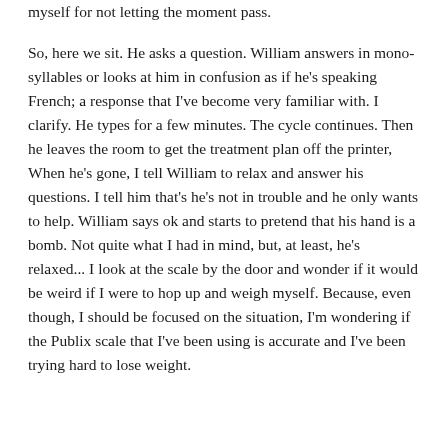myself for not letting the moment pass.

So, here we sit.  He asks a question.  William answers in mono-syllables or looks at him in confusion as if he's speaking French; a response that I've become very familiar with.  I clarify.  He types for a few minutes.  The cycle continues.  Then he leaves the room to get the treatment plan off the printer,  When he's gone, I tell William to relax and answer his questions.  I tell him that's he's not in trouble and he only wants to help.  William says ok and starts to pretend that his hand is a bomb.  Not quite what I had in mind, but, at least, he's relaxed...  I look at the scale by the door and wonder if it would be weird if I were to hop up and weigh myself.  Because, even though, I should be focused on the situation, I'm wondering if the Publix scale that I've been using is accurate and I've been trying hard to lose weight.